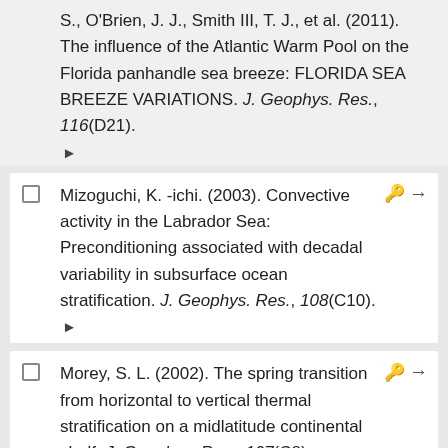S., O'Brien, J. J., Smith III, T. J., et al. (2011). The influence of the Atlantic Warm Pool on the Florida panhandle sea breeze: FLORIDA SEA BREEZE VARIATIONS. J. Geophys. Res., 116(D21).
Mizoguchi, K. -ichi. (2003). Convective activity in the Labrador Sea: Preconditioning associated with decadal variability in subsurface ocean stratification. J. Geophys. Res., 108(C10).
Morey, S. L. (2002). The spring transition from horizontal to vertical thermal stratification on a midlatitude continental shelf. J. Geophys. Res., 107(C8).